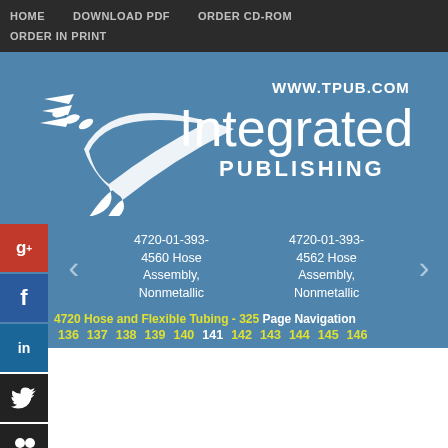HOME   DOWNLOAD PDF   ORDER CD-ROM   ORDER IN PRINT
[Figure (logo): Integrated Publishing logo with bird/arrow graphic and www.tpub.com URL on blue background]
4720-01-393-4560 Hose Assembly, Nonmetallic
4720-01-393-4562 Hose Assembly, Nonmetallic
4720 Hose and Flexible Tubing - 325 Page Navigation
136 137 138 139 140 141 142 143 144 145 146